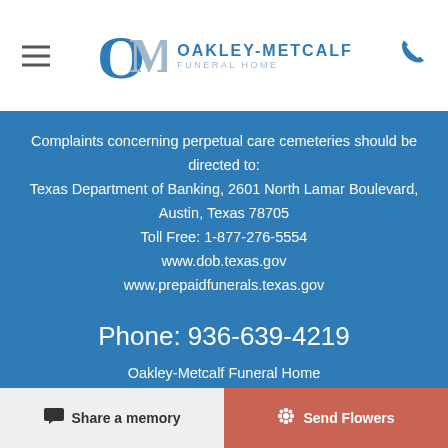Oakley-Metcalf Funeral Home
Complaints concerning perpetual care cemeteries should be directed to:
Texas Department of Banking, 2601 North Lamar Boulevard, Austin, Texas 78705
Toll Free: 1-877-276-5554
www.dob.texas.gov
www.prepaidfunerals.texas.gov
Phone: 936-639-4219
Oakley-Metcalf Funeral Home
412 East Shepherd Avenue
Lufkin, TX 75901
ronny.young@dignitymemorial.com
Share a memory  Send Flowers